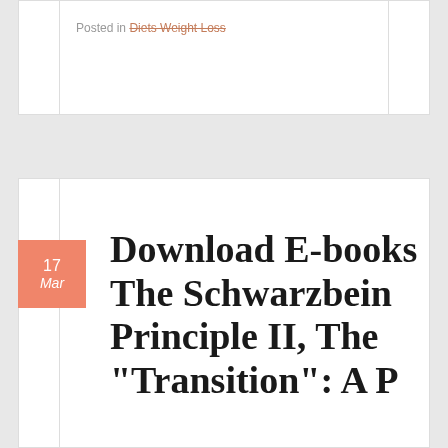Posted in Diets Weight Loss
Download E-books The Schwarzbein Principle II, The "Transition": A Program...